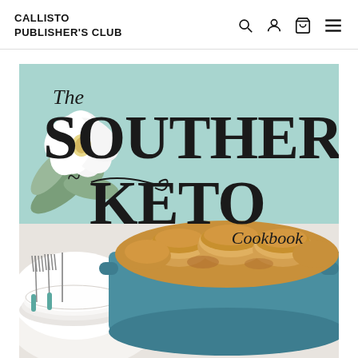CALLISTO PUBLISHER'S CLUB
[Figure (photo): Book cover of 'The Southern Keto Cookbook' showing the title text on a mint/teal background with a white magnolia flower in the upper left, and a blue casserole dish filled with biscuit-topped casserole in the lower portion, alongside a place setting with silverware on white plates.]